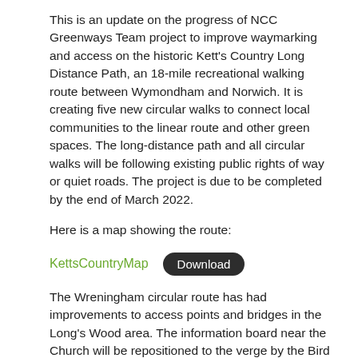This is an update on the progress of NCC Greenways Team project to improve waymarking and access on the historic Kett's Country Long Distance Path, an 18-mile recreational walking route between Wymondham and Norwich. It is creating five new circular walks to connect local communities to the linear route and other green spaces. The long-distance path and all circular walks will be following existing public rights of way or quiet roads. The project is due to be completed by the end of March 2022.
Here is a map showing the route:
KettsCountryMap [Download]
The Wreningham circular route has had improvements to access points and bridges in the Long's Wood area. The information board near the Church will be repositioned to the verge by the Bird In Hand.  There may be some additional notice signs installed along the route.
The team is gathering information about the local history, heritage and biodiversity for their promotional materials, so if you think anything would be worth highlighting, please